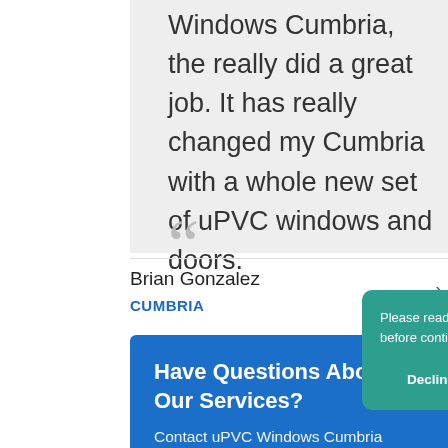Windows Cumbria, the really did a great job. It has really changed my Cumbria with a whole new set of uPVC windows and doors.
Brian Gonzalez
CUMBRIA
Have Questions About Our Services?
Contact uPVC Windows Cumbria Today for uPVC Windows in Cumbria.
Contact us
Please read our Privacy & Cookie Policy before continuing.  Click Here
Decline
Accept